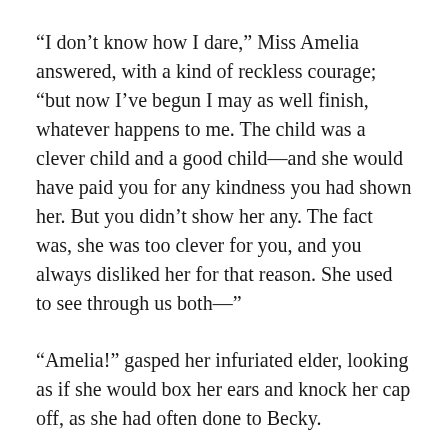“I don’t know how I dare,” Miss Amelia answered, with a kind of reckless courage; “but now I’ve begun I may as well finish, whatever happens to me. The child was a clever child and a good child—and she would have paid you for any kindness you had shown her. But you didn’t show her any. The fact was, she was too clever for you, and you always disliked her for that reason. She used to see through us both—”
“Amelia!” gasped her infuriated elder, looking as if she would box her ears and knock her cap off, as she had often done to Becky.
But Miss Amelia’s disappointment had made her hysterical enough not to care what occurred next.